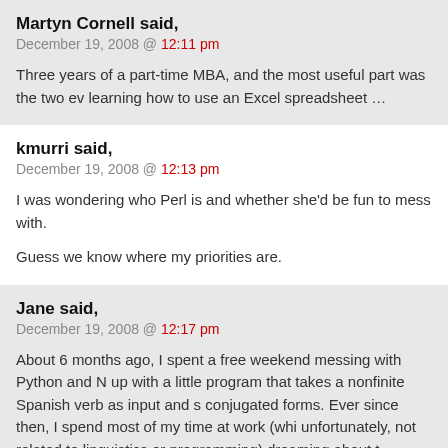Martyn Cornell said,
December 19, 2008 @ 12:11 pm
Three years of a part-time MBA, and the most useful part was the two ev learning how to use an Excel spreadsheet …
kmurri said,
December 19, 2008 @ 12:13 pm
I was wondering who Perl is and whether she'd be fun to mess with.
Guess we know where my priorities are.
Jane said,
December 19, 2008 @ 12:17 pm
About 6 months ago, I spent a free weekend messing with Python and N up with a little program that takes a nonfinite Spanish verb as input and s conjugated forms. Ever since then, I spend most of my time at work (whi unfortunately, not related to linguistics or programming) dreaming about t translation programs I would surely be capable of engineering if only I ha weekends. Alas, time is difficult to come by :(